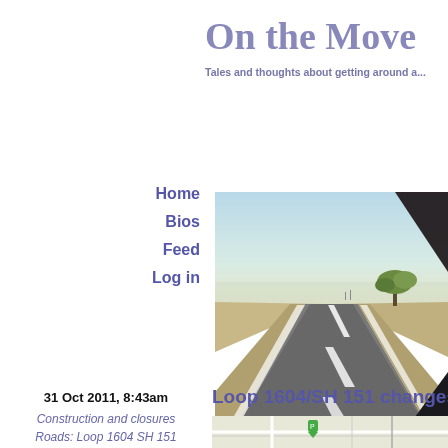On the Move
Tales and thoughts about getting around a...
Home
Bios
Feed
Log in
[Figure (photo): View from inside a car looking out through the windshield at a long straight desert highway with a tree on the right side and hazy sky]
31 Oct 2011, 8:43am
Construction and closures
Roads: Loop 1604 SH 151
Loop 1604/SH 151 changes t...
[Figure (map): Aerial map view showing Loop 1604 and SH 151 intersection area]